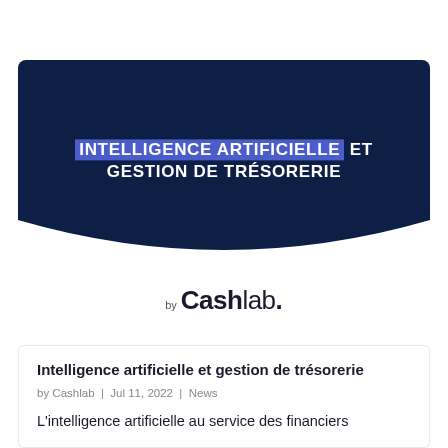[Figure (illustration): Dark navy blue banner with curved bottom edge containing bold white text: 'INTELLIGENCE ARTIFICIELLE ET GESTION DE TRÉSORERIE' where 'INTELLIGENCE ARTIFICIELLE' is highlighted with a blue/purple background rectangle]
by Cashlab.
Intelligence artificielle et gestion de trésorerie
by Cashlab | Jul 11, 2022 | News
L'intelligence artificielle au service des financiers